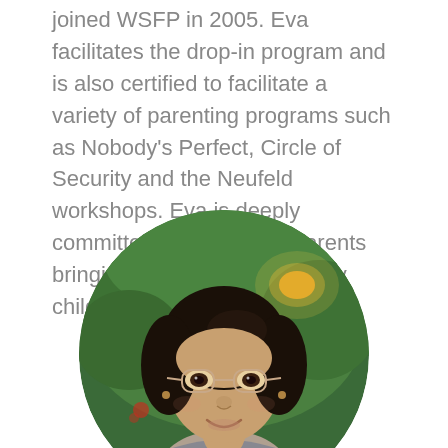joined WSFP in 2005. Eva facilitates the drop-in program and is also certified to facilitate a variety of parenting programs such as Nobody's Perfect, Circle of Security and the Neufeld workshops. Eva is deeply committed to supporting parents bringing up healthy and happy children.
[Figure (photo): Circular portrait photo of a woman with dark hair, round glasses, and a warm smile, wearing a grey top, photographed outdoors with green foliage and a warm light source in the background.]